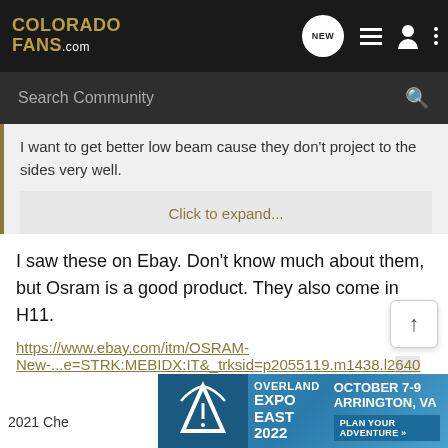COLORADO FANS.COM — navigation bar with NEW, list, person, and dots icons
Search Community
I want to get better low beam cause they don't project to the sides very well.
Click to expand...
I saw these on Ebay. Don't know much about them, but Osram is a good product. They also come in H11.
https://www.ebay.com/itm/OSRAM-New-...e=STRK:MEBIDX:IT&_trksid=p2055119.m1438.l2640
[Figure (screenshot): Overland Expo East 2022 advertisement banner — October 7-9, Arrington, VA, Plan Your Adventure]
2021 Che